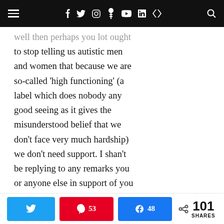Navigation bar with hamburger menu, social icons (f, Twitter, Instagram, Pinterest, YouTube, LinkedIn, RSS) and search icon
well then perhaps you lot ought to stop telling us autistic men and women that because we are so-called 'high functioning' (a label which does nobody any good seeing as it gives the misunderstood belief that we don't face very much hardship) we don't need support. I shan't be replying to any remarks you or anyone else in support of you and your laughable, dismissive and rude-ass attitudes
As always, it really is always
Twitter share button | Pinterest 53 | Facebook 48 | < 101 SHARES